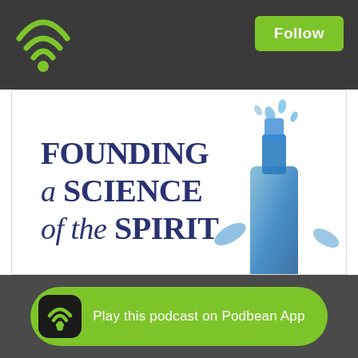[Figure (logo): Podbean WiFi/podcast streaming icon in green on dark grey top bar]
Follow
[Figure (illustration): Book cover image: 'FOUNDING a SCIENCE of the SPIRIT' with blue water splash or bottle on the right side, white background, dark navy serif title text]
Play this podcast on Podbean App